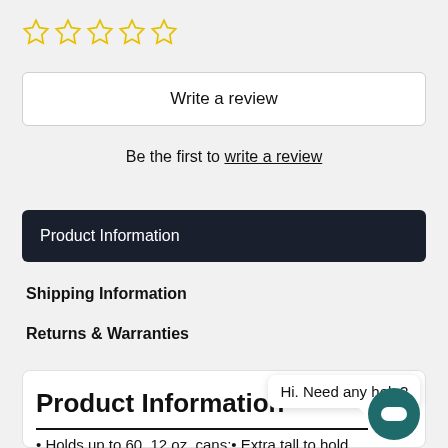[Figure (other): Five empty star rating icons in yellow outline]
Write a review
Be the first to write a review
Product Information
Shipping Information
Returns & Warranties
Product Information
• Holds up to 60, 12 oz. cans;• Extra tall to hold
Hi. Need any help?